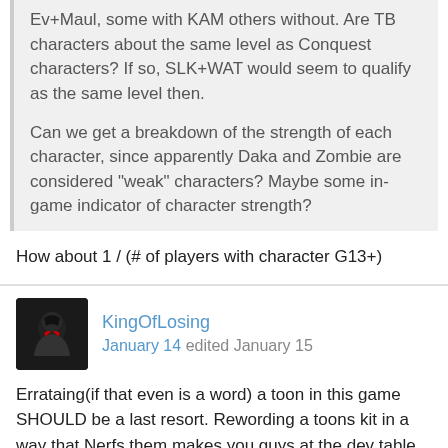Ev+Maul, some with KAM others without. Are TB characters about the same level as Conquest characters? If so, SLK+WAT would seem to qualify as the same level then.

Can we get a breakdown of the strength of each character, since apparently Daka and Zombie are considered "weak" characters? Maybe some in-game indicator of character strength?
How about 1 / (# of players with character G13+)
KingOfLosing
January 14 edited January 15
Errataing(if that even is a word) a toon in this game SHOULD be a last resort. Rewording a toons kit in a way that Nerfs them makes you guys at the dev table look Really bad and worse if it happens consistently. and this motion should only be used to fix or update a characters kit to provide more clarity. When you guys do this you are basically baiting and